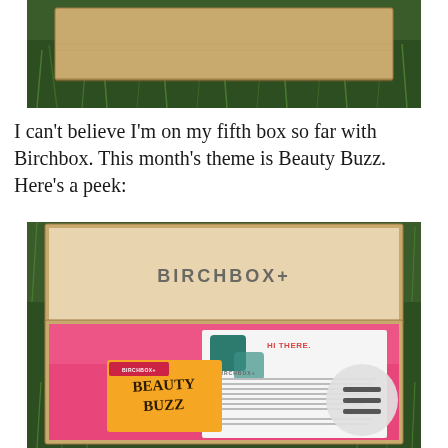[Figure (photo): An open cardboard box lid on green grass, plain brown cardboard exterior visible from above.]
I can't believe I'm on my fifth box so far with Birchbox. This month's theme is Beauty Buzz. Here's a peek:
[Figure (photo): An open Birchbox subscription box from above, showing the interior with pink tissue paper, a 'Beauty Buzz' card in orange, a Birchbox welcome card with 'HI THERE.' text, and green/teal decorative squares. The box interior lid shows the 'BIRCHBOX+' logo. A circular hamburger menu button is visible in the bottom right.]